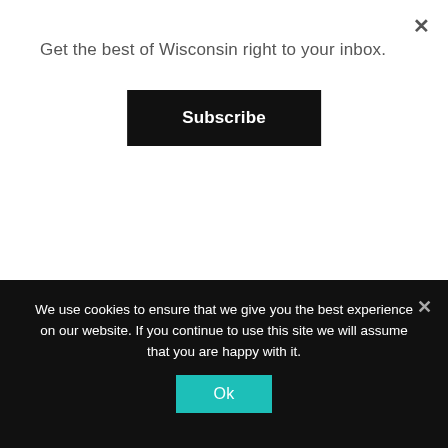Get the best of Wisconsin right to your inbox.
Subscribe
stand.
To learn more about Magic of Lights, visit magicoflights.com.
We use cookies to ensure that we give you the best experience on our website. If you continue to use this site we will assume that you are happy with it.
Ok